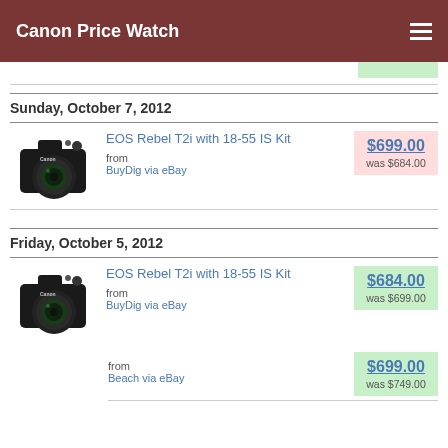Canon Price Watch
Sunday, October 7, 2012
EOS Rebel T2i with 18-55 IS Kit
from BuyDig via eBay
$699.00
was $684.00
Friday, October 5, 2012
EOS Rebel T2i with 18-55 IS Kit
from BuyDig via eBay
$684.00
was $699.00
from Beach via eBay
$699.00
was $749.00